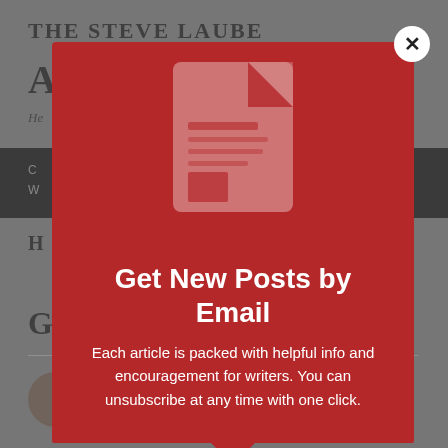THE STEVE LAUBE AGENCY
He...
C... W...
H...
G...
[Figure (screenshot): Email subscription popup modal with red background, document icon, headline 'Get New Posts by Email', and body text 'Each article is packed with helpful info and encouragement for writers. You can unsubscribe at any time with one click.' with a close (X) button in the top right corner.]
Get New Posts by Email
Each article is packed with helpful info and encouragement for writers. You can unsubscribe at any time with one click.